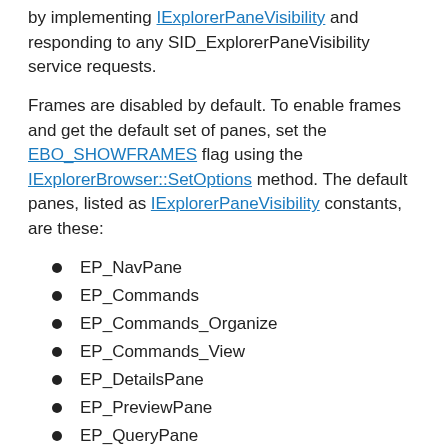by implementing IExplorerPaneVisibility and responding to any SID_ExplorerPaneVisibility service requests.
Frames are disabled by default. To enable frames and get the default set of panes, set the EBO_SHOWFRAMES flag using the IExplorerBrowser::SetOptions method. The default panes, listed as IExplorerPaneVisibility constants, are these:
EP_NavPane
EP_Commands
EP_Commands_Organize
EP_Commands_View
EP_DetailsPane
EP_PreviewPane
EP_QueryPane
EP_AdvQueryPane
EP_StatusBar
EP_Ribbon